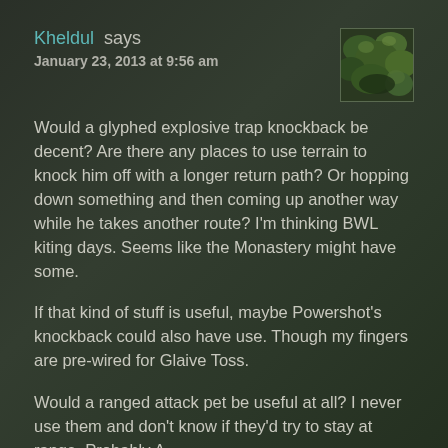Kheldul says
January 23, 2013 at 9:56 am
[Figure (photo): Avatar image showing green foliage/plant]
Would a glyphed explosive trap knockback be decent? Are there any places to use terrain to knock him off with a longer return path? Or hopping down something and then coming up another way while he takes another route? I'm thinking BWL kiting days. Seems like the Monastery might have some.
If that kind of stuff is useful, maybe Powershot's knockback could also have use. Though my fingers are pre-wired for Glaive Toss.
Would a ranged attack pet be useful at all? I never use them and don't know if they'd try to stay at range. Probably A...